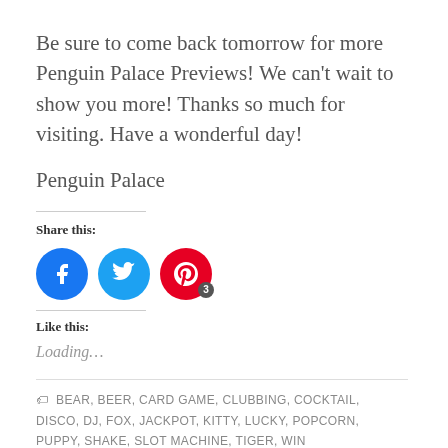Be sure to come back tomorrow for more Penguin Palace Previews! We can’t wait to show you more! Thanks so much for visiting. Have a wonderful day!
Penguin Palace
Share this:
[Figure (other): Social share buttons: Facebook (blue circle), Twitter (blue circle), Pinterest (red circle with badge showing 3)]
Like this:
Loading…
BEAR, BEER, CARD GAME, CLUBBING, COCKTAIL, DISCO, DJ, FOX, JACKPOT, KITTY, LUCKY, POPCORN, PUPPY, SHAKE, SLOT MACHINE, TIGER, WIN